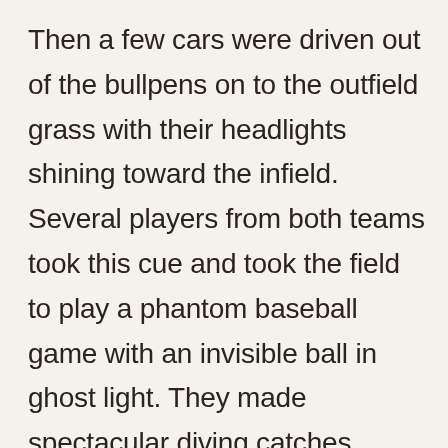Then a few cars were driven out of the bullpens on to the outfield grass with their headlights shining toward the infield. Several players from both teams took this cue and took the field to play a phantom baseball game with an invisible ball in ghost light. They made spectacular diving catches, impossible throws and gravity defying slides. The crowd went wild!